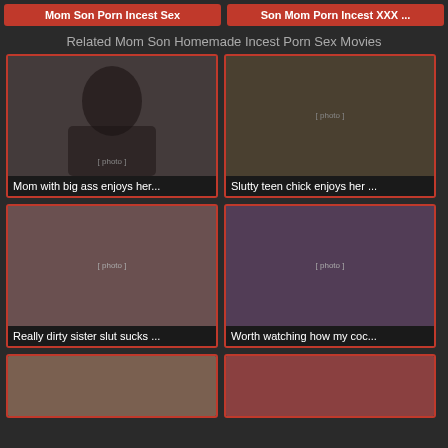Mom Son Porn Incest Sex
Son Mom Porn Incest XXX ...
Related Mom Son Homemade Incest Porn Sex Movies
[Figure (photo): Thumbnail image 1]
Mom with big ass enjoys her...
[Figure (photo): Thumbnail image 2]
Slutty teen chick enjoys her ...
[Figure (photo): Thumbnail image 3]
Really dirty sister slut sucks ...
[Figure (photo): Thumbnail image 4]
Worth watching how my coc...
[Figure (photo): Thumbnail image 5 (partial)]
[Figure (photo): Thumbnail image 6 (partial)]